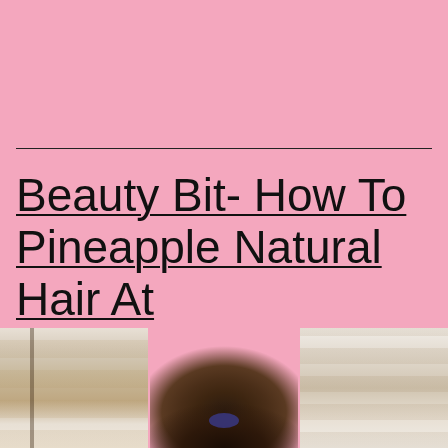Beauty Bit- How To Pineapple Natural Hair At Night
[Figure (photo): Three-panel photo strip at bottom of page showing: left panel - shoe shelves with many pairs of shoes, center panel - person with curly natural hair pulled up in pineapple style with a dark blue/purple head wrap, right panel - more shoe shelves similar to left panel]